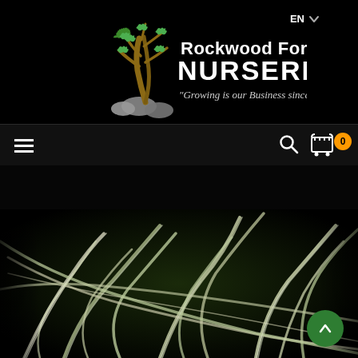[Figure (logo): Rockwood Forest Nurseries logo with tree illustration and tagline 'Growing is our Business since 1987']
EN
[Figure (screenshot): Navigation bar with hamburger menu, search icon, and cart with 0 items]
[Figure (photo): Close-up photo of grass or ornamental plant with green and white striped blades against dark background]